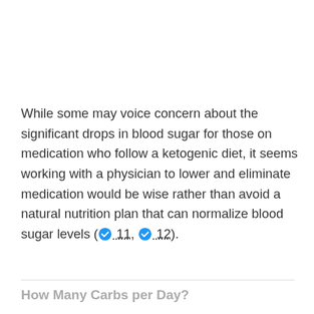While some may voice concern about the significant drops in blood sugar for those on medication who follow a ketogenic diet, it seems working with a physician to lower and eliminate medication would be wise rather than avoid a natural nutrition plan that can normalize blood sugar levels (✓ 11, ✓ 12).
How Many Carbs per Day?